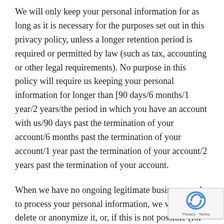We will only keep your personal information for as long as it is necessary for the purposes set out in this privacy policy, unless a longer retention period is required or permitted by law (such as tax, accounting or other legal requirements). No purpose in this policy will require us keeping your personal information for longer than [90 days/6 months/1 year/2 years/the period in which you have an account with us/90 days past the termination of your account/6 months past the termination of your account/1 year past the termination of your account/2 years past the termination of your account.
When we have no ongoing legitimate business need to process your personal information, we will either delete or anonymize it, or, if this is not possible (for example, because your personal information has been stored in backup archives), then we will securely store your personal